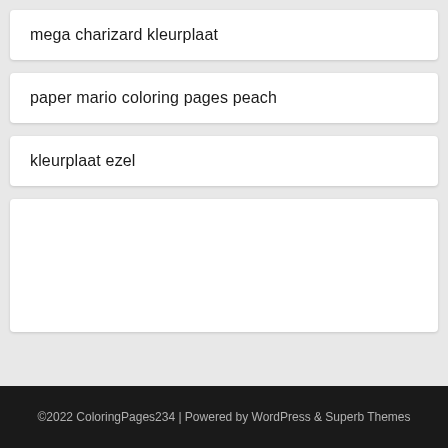mega charizard kleurplaat
paper mario coloring pages peach
kleurplaat ezel
[Figure (other): Blank white card/advertisement placeholder]
©2022 ColoringPages234 | Powered by WordPress & Superb Themes